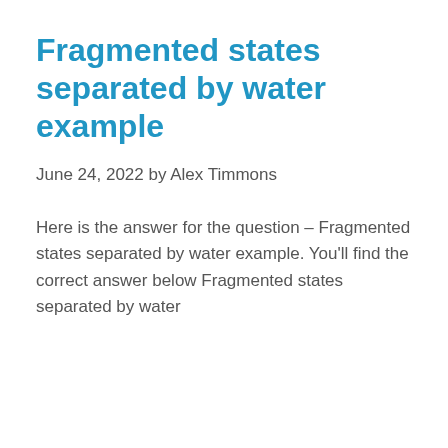Fragmented states separated by water example
June 24, 2022 by Alex Timmons
Here is the answer for the question – Fragmented states separated by water example. You'll find the correct answer below Fragmented states separated by water